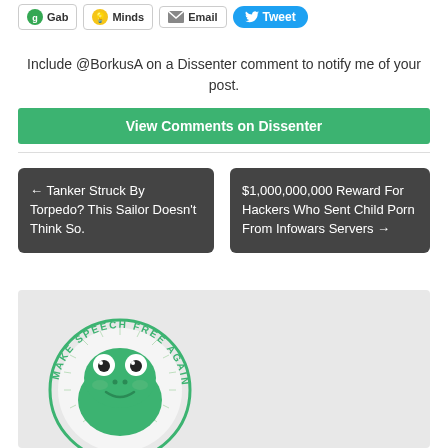Gab
Minds
Email
Tweet
Include @BorkusA on a Dissenter comment to notify me of your post.
View Comments on Dissenter
← Tanker Struck By Torpedo? This Sailor Doesn't Think So.
$1,000,000,000 Reward For Hackers Who Sent Child Porn From Infowars Servers →
[Figure (logo): Make Speech Free Again circular logo with green cartoon frog (Pepe) in the center]